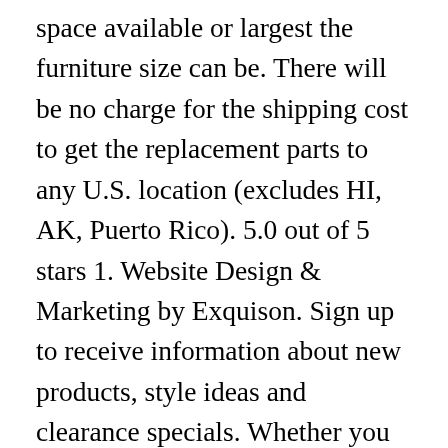space available or largest the furniture size can be. There will be no charge for the shipping cost to get the replacement parts to any U.S. location (excludes HI, AK, Puerto Rico). 5.0 out of 5 stars 1. Website Design & Marketing by Exquison. Sign up to receive information about new products, style ideas and clearance specials. Whether you have an idea already of the configuration, woods and finishes you require, or whether you need some expert input, we're here to listen and advise. $115.99 $ 115. $97.01 $ 97. The Bayside Entertainment Collection by Sunny Designs is beautifully crafted ... Get StartedMake to fit your dimensions, TV size and needs. So relax on your sofas & armchairs and enjoy your TV, even